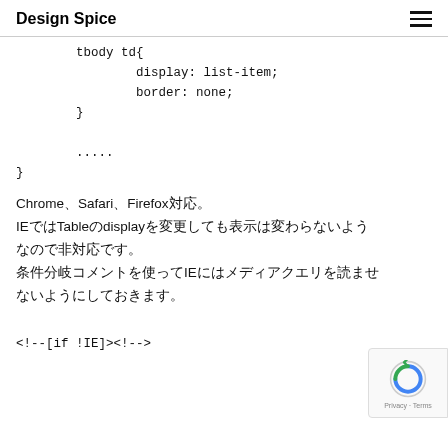Design Spice
tbody td{
            display: list-item;
            border: none;
    }

    .....
}
Chrome、Safari、Firefox対応。
IEではTableのdisplayを変更しても表示は変わらないようなので非対応です。
条件分岐コメントを使ってIEにはメディアクエリを読ませないようにしておきます。
<!--[if !IE]><!-->